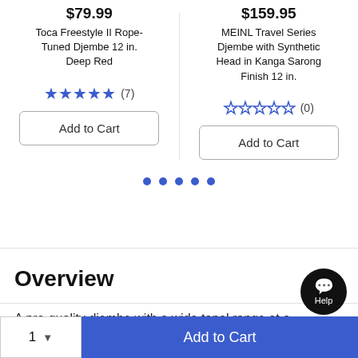$79.99
Toca Freestyle II Rope-Tuned Djembe 12 in. Deep Red
$159.95
MEINL Travel Series Djembe with Synthetic Head in Kanga Sarong Finish 12 in.
[Figure (other): 5 filled blue stars with review count (7)]
[Figure (other): 5 empty blue stars with review count (0)]
Add to Cart
Add to Cart
[Figure (other): Carousel pagination dots - 5 blue dots]
Overview
A pro-quality djembe with a wide tonal range at a
[Figure (other): Help chat button (black circle with chat icon and 'Help' label)]
1 ▼
Add to Cart